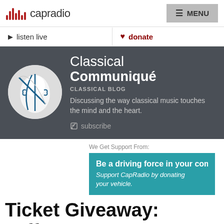capradio  MENU
listen live   donate
[Figure (logo): Classical Communiqué blog banner with circular violin/cello logo on dark grey background. Title reads 'Classical Communiqué', subtitle 'CLASSICAL BLOG', description 'Discussing the way classical music touches the mind and the heart.' with RSS subscribe link.]
We Get Support From: Be a driving force in your commun Support CapRadio by donating your vehicle.
Ticket Giveaway: Jeffrey